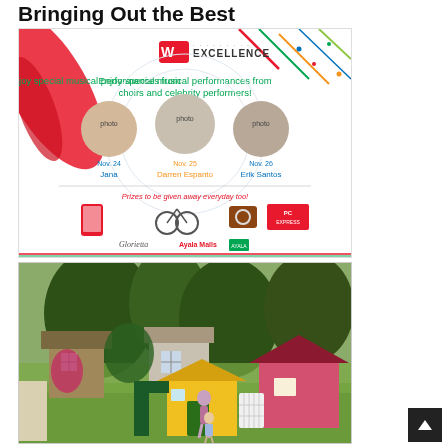Bringing Out the Best
[Figure (photo): Advertisement for a musical performance event featuring celebrity performers including Jana (Nov. 24), Darren Espanto (Nov. 25), and Erik Santos (Nov. 26). Prizes to be given away. Logos of Glorietta, Ayala Malls, and Ayala Land. Red and multicolored ribbon decorations.]
[Figure (photo): Outdoor photo of a garden area with trees, a small shed/building, and colorful plastic children's playhouses (yellow and pink). A woman and child are walking in the green grass area.]